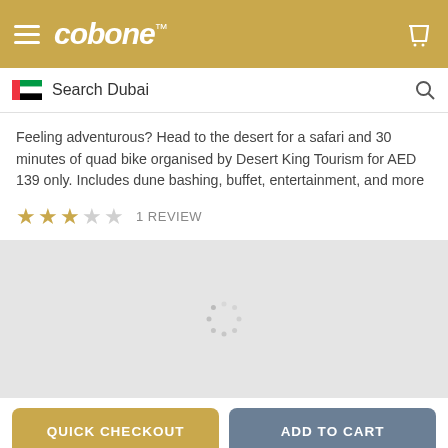cobone™ — Navigation header with hamburger menu and cart icon
Search Dubai
Feeling adventurous? Head to the desert for a safari and 30 minutes of quad bike organised by Desert King Tourism for AED 139 only. Includes dune bashing, buffet, entertainment, and more
★★★☆☆  1 REVIEW
[Figure (screenshot): Loading spinner on grey background — image content loading area]
QUICK CHECKOUT
ADD TO CART
Bottom navigation bar with home, notifications, settings, and profile icons